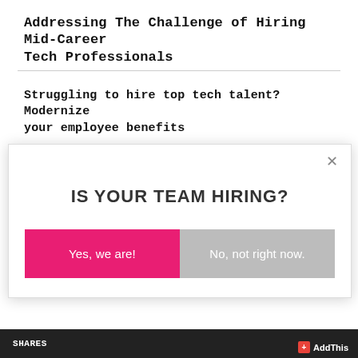Addressing The Challenge of Hiring Mid-Career Tech Professionals
Struggling to hire top tech talent? Modernize your employee benefits
[Figure (screenshot): A modal popup dialog with the question 'IS YOUR TEAM HIRING?' and two buttons: 'Yes, we are!' in pink/magenta and 'No, not right now.' in gray. A close (×) button is in the top right corner.]
SHARES  AddThis